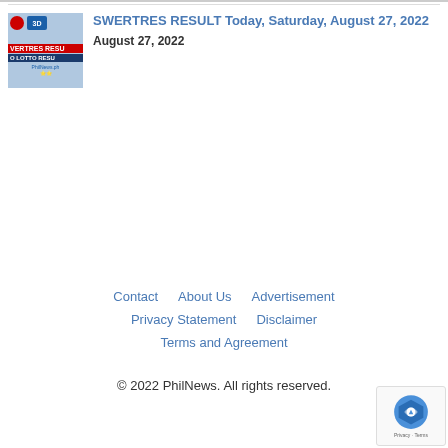[Figure (thumbnail): Thumbnail image for SWERTRES RESULT article, showing lotto result page with red and blue text]
SWERTRES RESULT Today, Saturday, August 27, 2022
August 27, 2022
Contact   About Us   Advertisement   Privacy Statement   Disclaimer   Terms and Agreement   © 2022 PhilNews. All rights reserved.